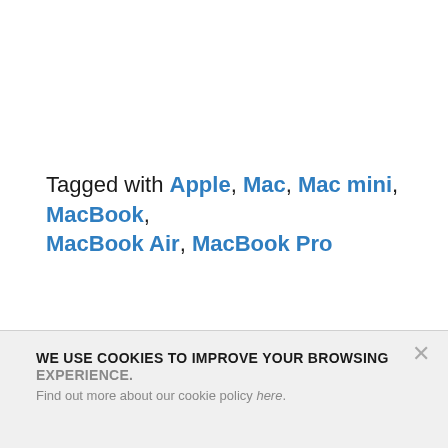Tagged with Apple, Mac, Mac mini, MacBook, MacBook Air, MacBook Pro
WE USE COOKIES TO IMPROVE YOUR BROWSING EXPERIENCE. Find out more about our cookie policy here.